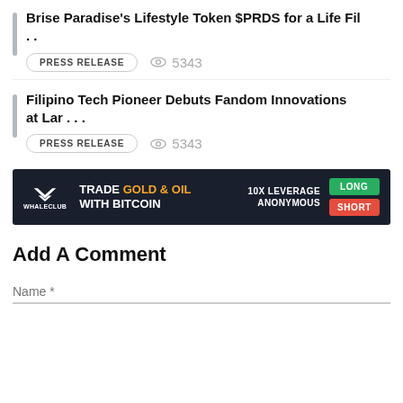Brise Paradise's Lifestyle Token $PRDS for a Life Fil...
PRESS RELEASE  👁 5343
Filipino Tech Pioneer Debuts Fandom Innovations at Lar...
PRESS RELEASE  👁 5343
[Figure (infographic): WhaleClub advertisement banner: TRADE GOLD & OIL WITH BITCOIN, 10X LEVERAGE ANONYMOUS, LONG and SHORT buttons]
Add A Comment
Name *